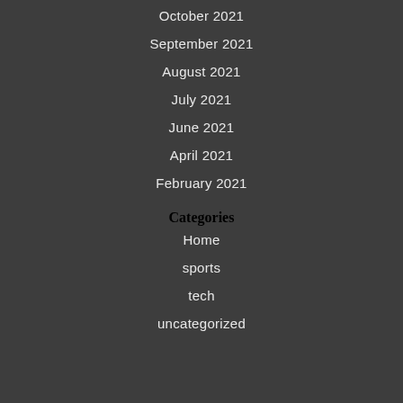October 2021
September 2021
August 2021
July 2021
June 2021
April 2021
February 2021
Categories
Home
sports
tech
uncategorized